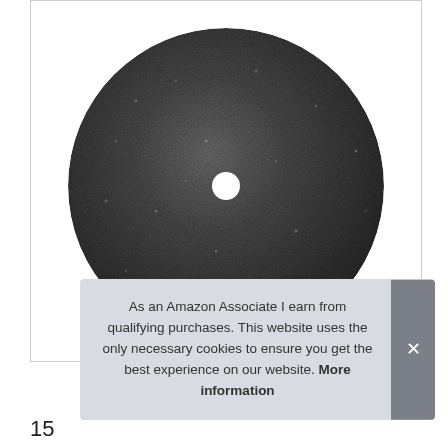[Figure (photo): A circular abrasive cutting disc (grinding wheel) with a rough dark gray/black textured surface and a small white center hole, photographed from above against a white background.]
As an Amazon Associate I earn from qualifying purchases. This website uses the only necessary cookies to ensure you get the best experience on our website. More information
15